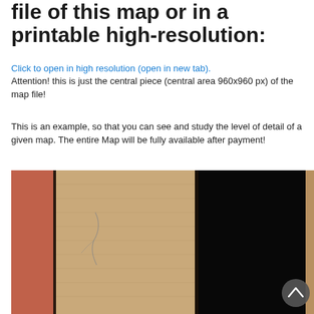file of this map or in a printable high-resolution:
Click to open in high resolution (open in new tab).
Attention! this is just the central piece (central area 960x960 px) of the map file!
This is an example, so that you can see and study the level of detail of a given map. The entire Map will be fully available after payment!
[Figure (photo): Close-up photograph of an old map showing canvas texture, torn edges, a reddish-orange left portion, a beige/tan central area with cracks and damage, and a blacked-out right section. A scroll-to-top button (chevron up) is visible in the bottom-right corner.]